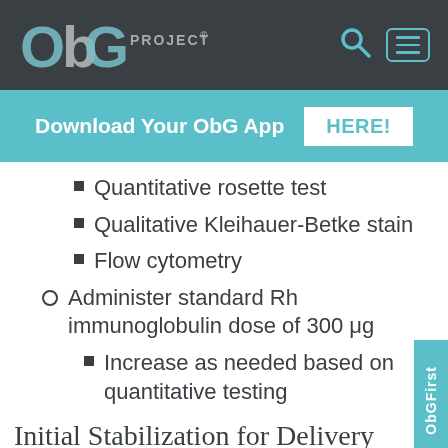ObG Project®
Download Your ObG App HERE!
Quantitative rosette test
Qualitative Kleihauer-Betke stain
Flow cytometry
Administer standard Rh immunoglobulin dose of 300 μg
Increase as needed based on quantitative testing
Initial Stabilization for Delivery
2 large-bore intravenous lines
Obtain results from lab testing above,